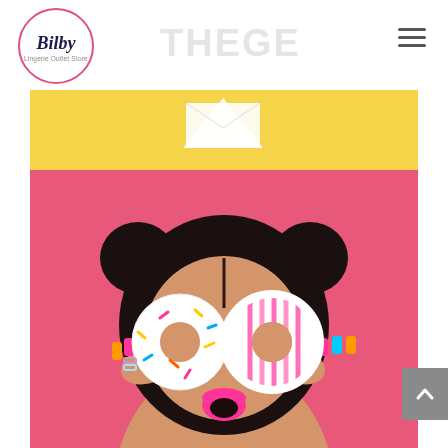[Figure (logo): Bilby Lingerie Outlet Store circular logo with pink border]
[Figure (photo): Woman with dark hair in buns holding two donuts over her eyes against a pink background; wearing bright pink lipstick and colorful nails. Yellow band and white envelope visible behind her.]
[Figure (other): Gray scroll-to-top button with upward chevron on the right edge]